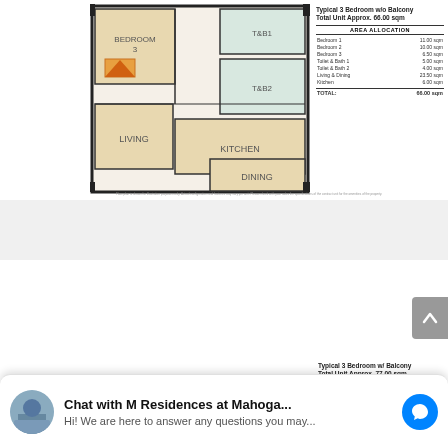[Figure (engineering-diagram): Floor plan of Typical 3 Bedroom w/o Balcony unit showing Bedroom 3, T&B1, T&B2, Kitchen, Living, and Dining areas]
Typical 3 Bedroom w/o Balcony
Total Unit Approx. 66.00 sqm
AREA ALLOCATION
| Room | Area |
| --- | --- |
| Bedroom 1 | 11.00 sqm |
| Bedroom 2 | 10.00 sqm |
| Bedroom 3 | 6.50 sqm |
| Toilet & Bath 1 | 5.00 sqm |
| Toilet & Bath 2 | 4.00 sqm |
| Living & Dining | 23.50 sqm |
| Kitchen | 6.00 sqm |
| TOTAL: | 66.00 sqm |
Floor plan is shown for illustrative purposes only. Actual configuration and features may vary per unit. Please check with your sales the specifications of the contract unit for the amenities of the property.
[Figure (logo): Tivoli Garden Residences logo with leaf motif]
[Figure (engineering-diagram): Floor plan of Typical 3 Bedroom w/ Balcony unit showing Balcony, Bedroom 1, Bedroom 2, Bedroom 3, Kitchen, T&B1 areas]
Typical 3 Bedroom w/ Balcony
Total Unit Approx. 77.00 sqm
AREA ALLOCATION
| Room | Area |
| --- | --- |
| Bedroom 1 | 14.00 sqm |
| Bedroom 2 | 7.50 sqm |
| Bedroom 3 | 7.00 sqm |
| Toilet & Bath 1 | 5.50 sqm |
| Toilet & Bath 2 | 4.50 sqm |
| Living & Dining | ?? |
Chat with M Residences at Mahoga...
Hi! We are here to answer any questions you may...